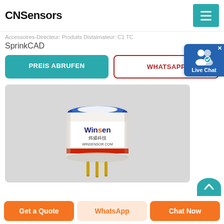CNSensors
Accessoires-Directeur: Produits Distaimateur: C1 TC
SprinkCAD
PREIS ABRUFEN
WHATSAPP
[Figure (photo): Winsen brand electrochemical gas sensor module - cylindrical sensor with blue top ring, red stripe, white label reading 'Winsen 炜盛科技 WINSENSOR.COM', transparent plastic body with gold pins on a gray background.]
Get a Quote
WhatsApp
Chat Now